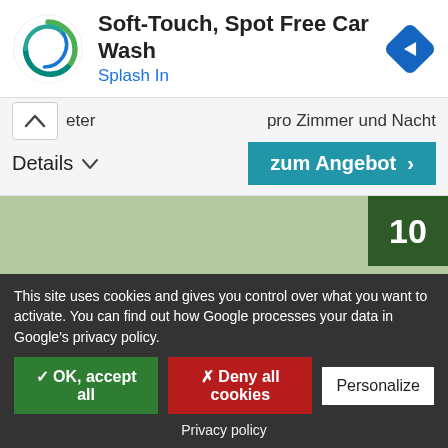[Figure (screenshot): Ad banner: Soft-Touch, Spot Free Car Wash - Splash In with logo and navigation diamond icon]
meter                              pro Zimmer und Nacht
Details  ∨                                              zum Angebot  >
[Figure (map): Green map area with score badge showing 10 and navigation arrows]
This site uses cookies and gives you control over what you want to activate. You can find out how Google processes your data in Google's privacy policy.
✓ OK, accept all    ✗ Deny all cookies    Personalize
Privacy policy